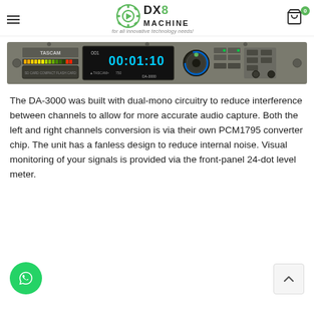DX8 MACHINE — for all innovative technology needs!
[Figure (photo): TASCAM DA-3000 professional audio recorder/player, front panel view showing level meters, display with 00:01:10 timecode, transport controls, and TASCAM branding on a rack-mount unit.]
The DA-3000 was built with dual-mono circuitry to reduce interference between channels to allow for more accurate audio capture. Both the left and right channels conversion is via their own PCM1795 converter chip. The unit has a fanless design to reduce internal noise. Visual monitoring of your signals is provided via the front-panel 24-dot level meter.